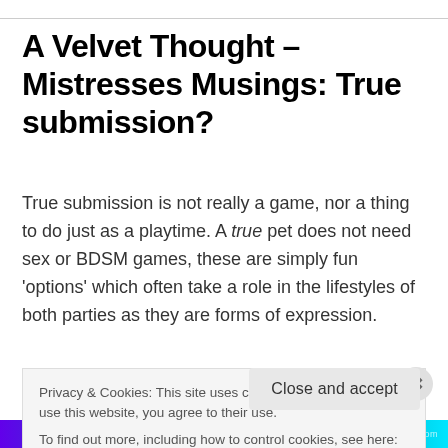A Velvet Thought – Mistresses Musings: True submission?
True submission is not really a game, nor a thing to do just as a playtime. A true pet does not need sex or BDSM games, these are simply fun 'options' which often take a role in the lifestyles of both parties as they are forms of expression.
Fetish is not a prerequisite of submission.
Privacy & Cookies: This site uses cookies. By continuing to use this website, you agree to their use.
To find out more, including how to control cookies, see here: Cookie Policy